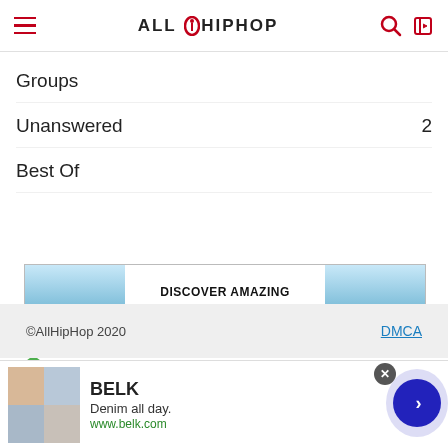AllHipHop
Groups
Unanswered  2
Best Of
[Figure (photo): Advertisement banner: DISCOVER AMAZING TRAVEL SIDESTAGE.COM with Alaska glacier images on left and right, ezoic badge bottom left, report this ad bottom right]
©AllHipHop 2020   DMCA
[Figure (photo): Bottom ad banner for BELK - Denim all day. www.belk.com with product image on left and navigation arrow button on right]